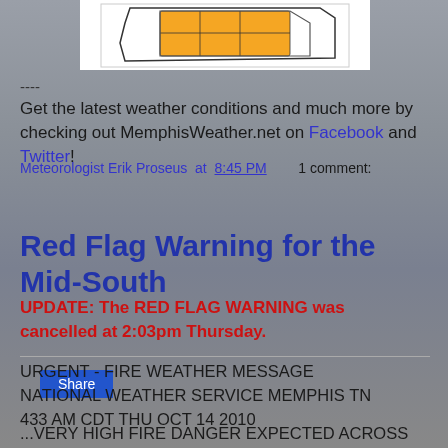[Figure (map): Weather map showing highlighted counties in yellow/orange in a Mid-South region]
----
Get the latest weather conditions and much more by checking out MemphisWeather.net on Facebook and Twitter!
Meteorologist Erik Proseus at 8:45 PM   1 comment:
Share
Red Flag Warning for the Mid-South
UPDATE: The RED FLAG WARNING was cancelled at 2:03pm Thursday.
URGENT - FIRE WEATHER MESSAGE
NATIONAL WEATHER SERVICE MEMPHIS TN
433 AM CDT THU OCT 14 2010
...VERY HIGH FIRE DANGER EXPECTED ACROSS PARTS OF THE MID-SOUTH THROUGH EARLY